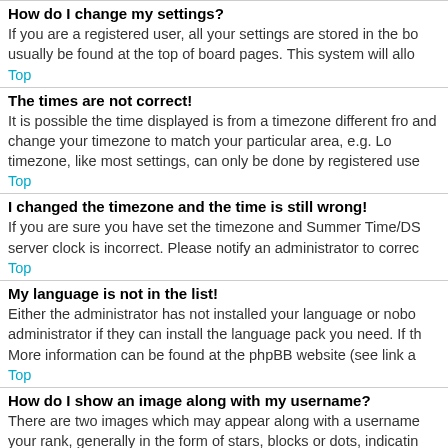How do I change my settings?
If you are a registered user, all your settings are stored in the bo usually be found at the top of board pages. This system will allo
Top
The times are not correct!
It is possible the time displayed is from a timezone different from and change your timezone to match your particular area, e.g. Lo timezone, like most settings, can only be done by registered use
Top
I changed the timezone and the time is still wrong!
If you are sure you have set the timezone and Summer Time/DS server clock is incorrect. Please notify an administrator to correc
Top
My language is not in the list!
Either the administrator has not installed your language or nobo administrator if they can install the language pack you need. If th More information can be found at the phpBB website (see link a
Top
How do I show an image along with my username?
There are two images which may appear along with a username your rank, generally in the form of stars, blocks or dots, indicatin Another, usually a larger image, is known as an avatar and is ge administrator to enable avatars and to choose the way in which contact a board administrator and ask them for their reasons.
Top
What is my rank and how do I change it?